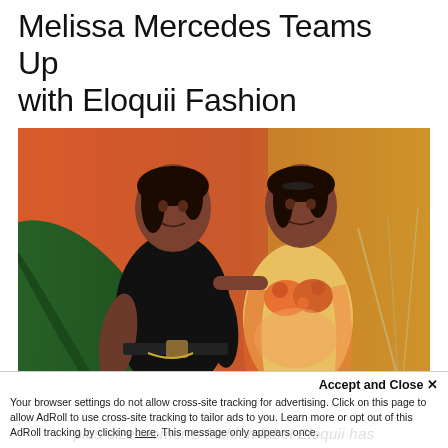Melissa Mercedes Teams Up with Eloquii Fashion
[Figure (photo): Two women posing against an orange and yellow background with tropical plants. The woman on the left wears a black sleeveless outfit with a belt; the woman on the right wears a colorful floral bikini top and matching open jacket.]
Accept and Close ×
Your browser settings do not allow cross-site tracking for advertising. Click on this page to allow AdRoll to use cross-site tracking to tailor ads to you. Learn more or opt out of this AdRoll tracking by clicking here. This message only appears once.
plus-size women's fashion label Eloquii has